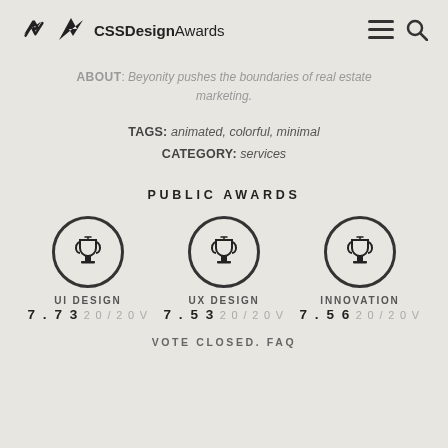CSS Design Awards
ABOUT: Beyonity pushes the boundaries of real estate marketing.
TAGS: animated, colorful, minimal
CATEGORY: services
PUBLIC AWARDS
[Figure (infographic): Three trophy icons in circles for UI Design (7.73, 20/20V), UX Design (7.53, 20/20V), Innovation (7.56, 20/20V)]
VOTE CLOSED. FAQ